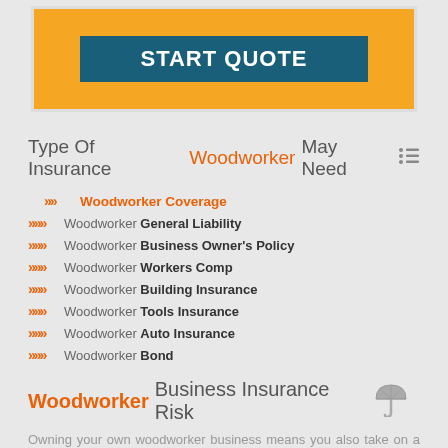[Figure (other): START QUOTE button in teal/blue on orange/yellow background banner]
Type Of Insurance Woodworker May Need
Woodworker Coverage
Woodworker General Liability
Woodworker Business Owner's Policy
Woodworker Workers Comp
Woodworker Building Insurance
Woodworker Tools Insurance
Woodworker Auto Insurance
Woodworker Bond
Woodworker Business Insurance Risk
Owning your own woodworker business means you also take on a lot of risk associated with the